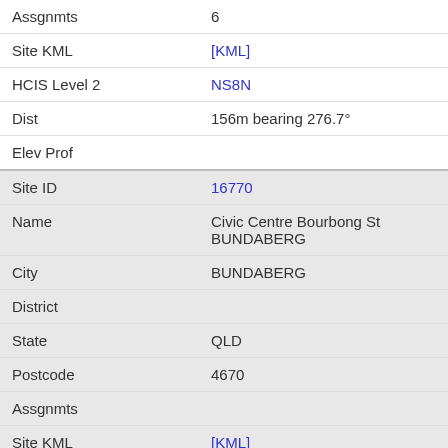| Field | Value |
| --- | --- |
| Assgnmts | 6 |
| Site KML | [KML] |
| HCIS Level 2 | NS8N |
| Dist | 156m bearing 276.7° |
| Elev Prof |  |
| Site ID | 16770 |
| Name | Civic Centre Bourbong St BUNDABERG |
| City | BUNDABERG |
| District |  |
| State | QLD |
| Postcode | 4670 |
| Assgnmts |  |
| Site KML | [KML] |
| HCIS Level 2 | NS8N |
| Dist | 176m bearing 265.2° |
| Elev Prof |  |
| Site ID | 16762 |